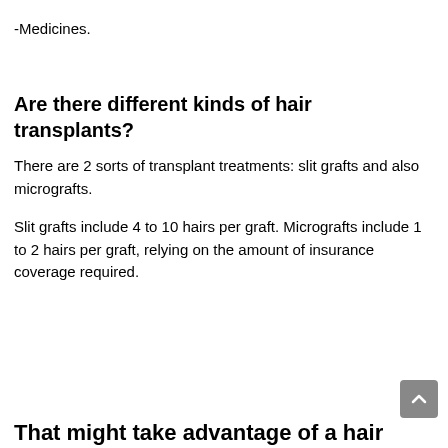-Medicines.
Are there different kinds of hair transplants?
There are 2 sorts of transplant treatments: slit grafts and also micrografts.
Slit grafts include 4 to 10 hairs per graft. Micrografts include 1 to 2 hairs per graft, relying on the amount of insurance coverage required.
That might take advantage of a hair